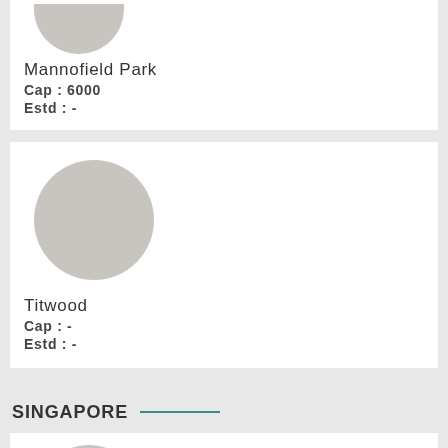[Figure (photo): Circular placeholder image (grey) for Mannofield Park venue, partially cropped at top]
Mannofield Park
Cap : 6000
Estd : -
[Figure (photo): Circular placeholder image (grey) for Titwood venue]
Titwood
Cap : -
Estd : -
SINGAPORE
[Figure (photo): Circular placeholder image (grey) for Singapore venue, partially cropped at bottom]